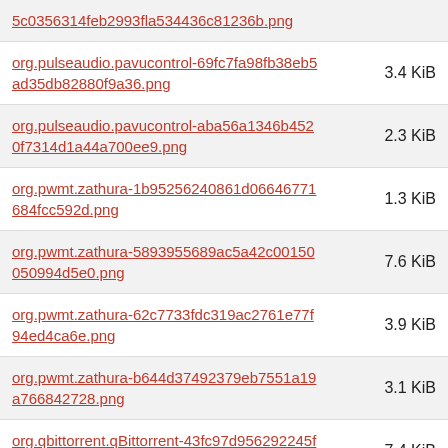| Filename | Size |
| --- | --- |
| 5c0356314feb2993fla534436c81236b.png |  |
| org.pulseaudio.pavucontrol-69fc7fa98fb38eb5ad35db82880f9a36.png | 3.4 KiB |
| org.pulseaudio.pavucontrol-aba56a1346b4520f7314d1a44a700ee9.png | 2.3 KiB |
| org.pwmt.zathura-1b95256240861d06646771684fcc592d.png | 1.3 KiB |
| org.pwmt.zathura-5893955689ac5a42c00150050994d5e0.png | 7.6 KiB |
| org.pwmt.zathura-62c7733fdc319ac2761e77f94ed4ca6e.png | 3.9 KiB |
| org.pwmt.zathura-b644d37492379eb7551a19a766842728.png | 3.1 KiB |
| org.qbittorrent.qBittorrent-43fc97d956292245fe0e346c8721fbb9.png | 7.4 KiB |